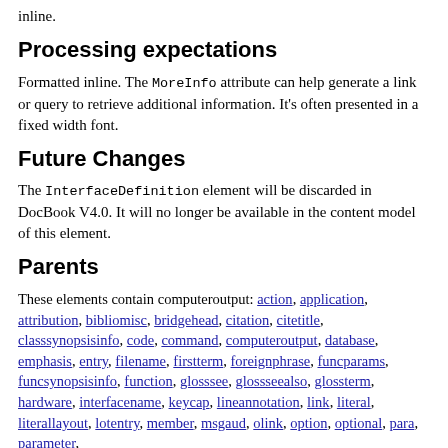inline.
Processing expectations
Formatted inline. The MoreInfo attribute can help generate a link or query to retrieve additional information. It's often presented in a fixed width font.
Future Changes
The InterfaceDefinition element will be discarded in DocBook V4.0. It will no longer be available in the content model of this element.
Parents
These elements contain computeroutput: action, application, attribution, bibliomisc, bridgehead, citation, citetitle, classsynopsisinfo, code, command, computeroutput, database, emphasis, entry, filename, firstterm, foreignphrase, funcparams, funcsynopsisinfo, function, glosssee, glossseealso, glossterm, hardware, interfacename, keycap, lineannotation, link, literal, literallayout, lotentry, member, msgaud, olink, option, optional, para, parameter,